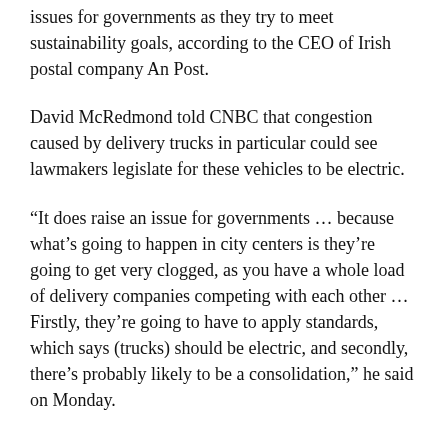issues for governments as they try to meet sustainability goals, according to the CEO of Irish postal company An Post.
David McRedmond told CNBC that congestion caused by delivery trucks in particular could see lawmakers legislate for these vehicles to be electric.
“It does raise an issue for governments … because what’s going to happen in city centers is they’re going to get very clogged, as you have a whole load of delivery companies competing with each other … Firstly, they’re going to have to apply standards, which says (trucks) should be electric, and secondly, there’s probably likely to be a consolidation,” he said on Monday.